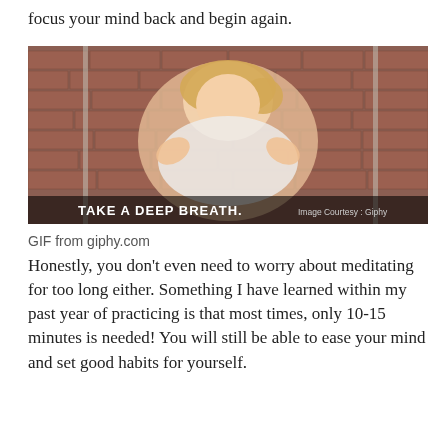focus your mind back and begin again.
[Figure (photo): A smiling blonde woman gesturing with her hands in front of a brick wall background. Text overlay reads: TAKE A DEEP BREATH. Image Courtesy: Giphy]
GIF from giphy.com
Honestly, you don’t even need to worry about meditating for too long either. Something I have learned within my past year of practicing is that most times, only 10-15 minutes is needed! You will still be able to ease your mind and set good habits for yourself.